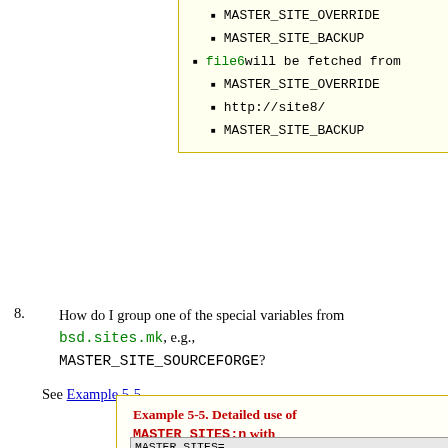MASTER_SITE_OVERRIDE
MASTER_SITE_BACKUP
file6 will be fetched from
MASTER_SITE_OVERRIDE
http://site8/
MASTER_SITE_BACKUP
8. How do I group one of the special variables from bsd.sites.mk, e.g., MASTER_SITE_SOURCEFORGE?
See Example 5-5.
Example 5-5. Detailed use of MASTER_SITES:n with MASTER_SITE_SOURCEFORGE
MASTER_SITES= ...